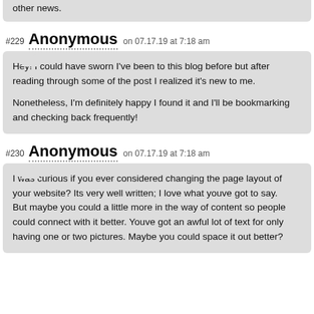other news.
#229 Anonymous on 07.17.19 at 7:18 am
Hey! I could have sworn I've been to this blog before but after reading through some of the post I realized it's new to me.

Nonetheless, I'm definitely happy I found it and I'll be bookmarking and checking back frequently!
#230 Anonymous on 07.17.19 at 7:18 am
I was curious if you ever considered changing the page layout of your website? Its very well written; I love what youve got to say.
But maybe you could a little more in the way of content so people could connect with it better. Youve got an awful lot of text for only having one or two pictures. Maybe you could space it out better?